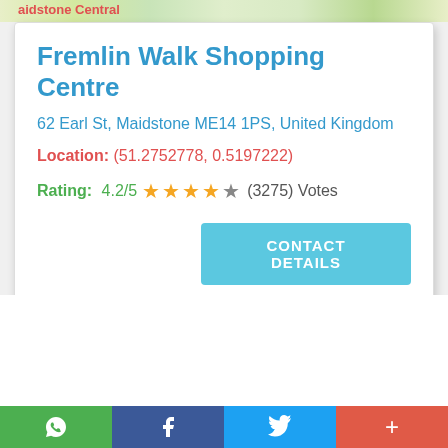[Figure (map): Partial Google Maps view showing 'aidstone Central' label at top]
Fremlin Walk Shopping Centre
62 Earl St, Maidstone ME14 1PS, United Kingdom
Location: (51.2752778, 0.5197222)
Rating: 4.2/5 ★★★★☆ (3275) Votes
CONTACT DETAILS
[Figure (other): Footer social share bar with WhatsApp, Facebook, Twitter, and More (+) buttons]